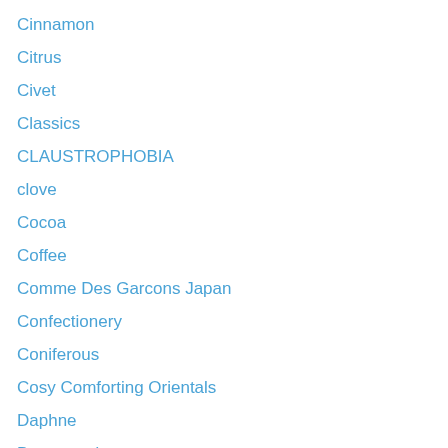Cinnamon
Citrus
Civet
Classics
CLAUSTROPHOBIA
clove
Cocoa
Coffee
Comme Des Garcons Japan
Confectionery
Coniferous
Cosy Comforting Orientals
Daphne
Depressed
destroying the shackles of heterosexuality
diptychs
Djedi
dreamscapes
Exquisite Perfumes
Faux Toxic